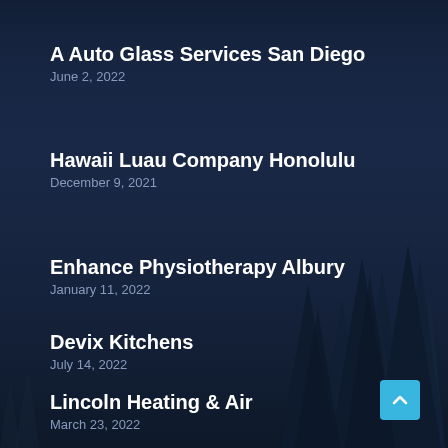A Auto Glass Services San Diego
June 2, 2022
Hawaii Luau Company Honolulu
December 9, 2021
Enhance Physiotherapy Albury
January 11, 2022
Devix Kitchens
July 14, 2022
Lincoln Heating & Air
March 23, 2022